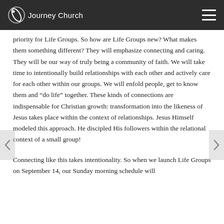Journey Church
priority for Life Groups. So how are Life Groups new? What makes them something different? They will emphasize connecting and caring. They will be our way of truly being a community of faith.  We will take time to intentionally build relationships with each other and actively care for each other within our groups. We will enfold people, get to know them and “do life” together. These kinds of connections are indispensable for Christian growth: transformation into the likeness of Jesus takes place within the context of relationships. Jesus Himself modeled this approach. He discipled His followers within the relational context of a small group!
Connecting like this takes intentionality. So when we launch Life Groups on September 14, our Sunday morning schedule will